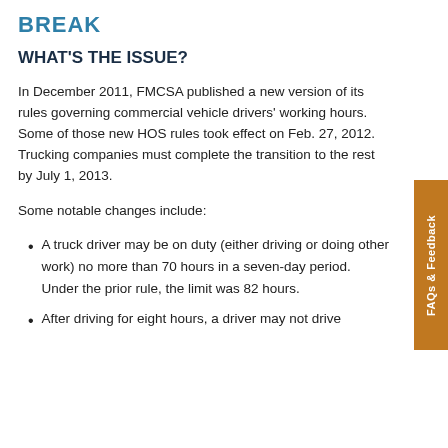BREAK
WHAT'S THE ISSUE?
In December 2011, FMCSA published a new version of its rules governing commercial vehicle drivers' working hours. Some of those new HOS rules took effect on Feb. 27, 2012. Trucking companies must complete the transition to the rest by July 1, 2013.
Some notable changes include:
A truck driver may be on duty (either driving or doing other work) no more than 70 hours in a seven-day period. Under the prior rule, the limit was 82 hours.
After driving for eight hours, a driver may not drive